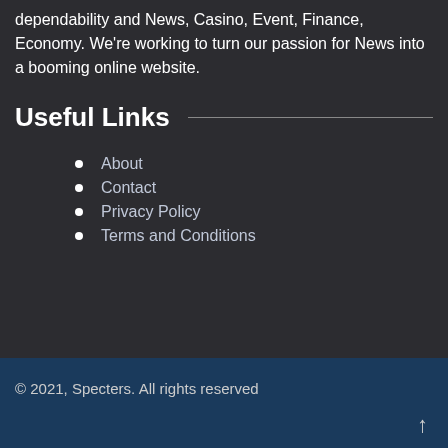dependability and News, Casino, Event, Finance, Economy. We're working to turn our passion for News into a booming online website.
Useful Links
About
Contact
Privacy Policy
Terms and Conditions
© 2021, Specters. All rights reserved